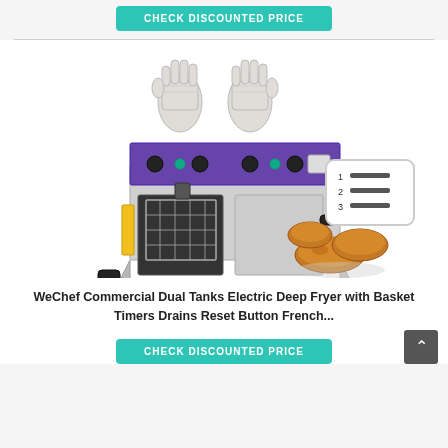[Figure (other): Teal/green CHECK DISCOUNTED PRICE button at top]
[Figure (photo): WeChef Commercial Dual Tanks Electric Deep Fryer with two cut-resistant gloves above, fried chicken pieces, and a list-icon badge on right side]
WeChef Commercial Dual Tanks Electric Deep Fryer with Basket Timers Drains Reset Button French...
[Figure (other): Teal/green CHECK DISCOUNTED PRICE button at bottom with dark grey up-arrow button on right]